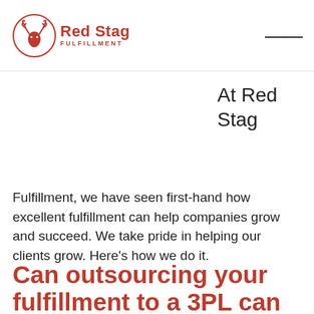Red Stag Fulfillment
At Red Stag
Fulfillment, we have seen first-hand how excellent fulfillment can help companies grow and succeed. We take pride in helping our clients grow. Here's how we do it.
Can outsourcing your fulfillment to a 3PL can help you grow and